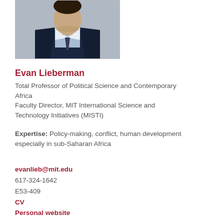[Figure (photo): Headshot photo of Evan Lieberman, a man in a dark suit with a light blue shirt, arms crossed, against a light background.]
Evan Lieberman
Total Professor of Political Science and Contemporary Africa
Faculty Director, MIT International Science and Technology Initiatives (MISTI)
Expertise: Policy-making, conflict, human development especially in sub-Saharan Africa
evanlieb@mit.edu
617-324-1642
E53-409
CV
Personal website